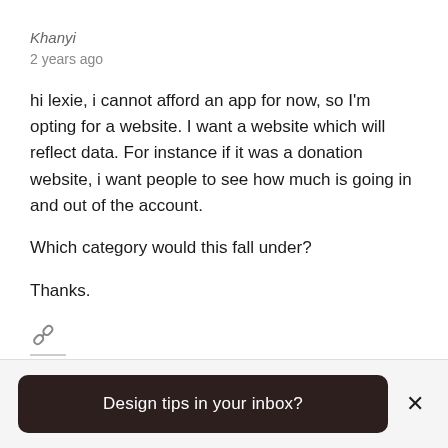Khanyi
2 years ago
hi lexie, i cannot afford an app for now, so I'm opting for a website. I want a website which will reflect data. For instance if it was a donation website, i want people to see how much is going in and out of the account.
Which category would this fall under?
Thanks.
[Figure (illustration): Link/chain icon with underline]
Design tips in your inbox?